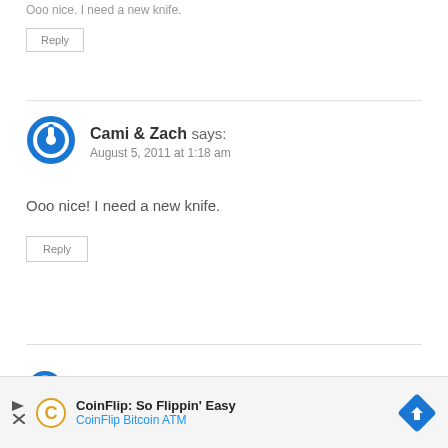Ooo nice. I need a new knife.
Reply
Cami & Zach says:
August 5, 2011 at 1:18 am
Ooo nice! I need a new knife.
Reply
[Figure (other): Partial blue power-button avatar icon at bottom]
CoinFlip: So Flippin' Easy
CoinFlip Bitcoin ATM